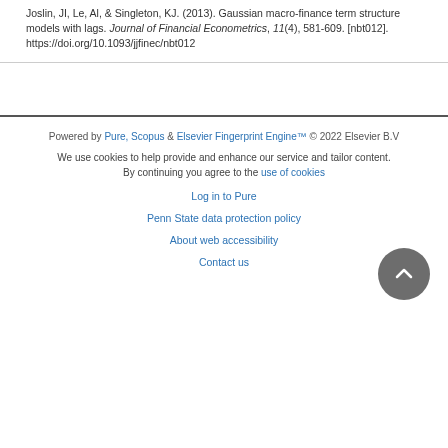Joslin, JI, Le, Al, & Singleton, KJ. (2013). Gaussian macro-finance term structure models with lags. Journal of Financial Econometrics, 11(4), 581-609. [nbt012]. https://doi.org/10.1093/jjfinec/nbt012
Powered by Pure, Scopus & Elsevier Fingerprint Engine™ © 2022 Elsevier B.V
We use cookies to help provide and enhance our service and tailor content. By continuing you agree to the use of cookies
Log in to Pure
Penn State data protection policy
About web accessibility
Contact us